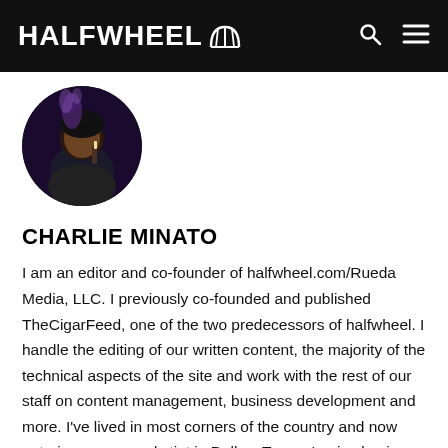HALFWHEEL
[Figure (photo): Circular profile photo of Charlie Minato, a person holding a cigar with purple smoke, dark background]
CHARLIE MINATO
I am an editor and co-founder of halfwheel.com/Rueda Media, LLC. I previously co-founded and published TheCigarFeed, one of the two predecessors of halfwheel. I handle the editing of our written content, the majority of the technical aspects of the site and work with the rest of our staff on content management, business development and more. I've lived in most corners of the country and now entering my second stint in Dallas, Texas. I enjoy boxing, headphones, the